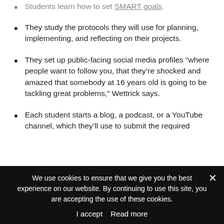Students learn how to set SMART goals.
They study the protocols they will use for planning, implementing, and reflecting on their projects.
They set up public-facing social media profiles “where people want to follow you, that they’re shocked and amazed that somebody at 16 years old is going to be tackling great problems,” Wettrick says.
Each student starts a blog, a podcast, or a YouTube channel, which they’ll use to submit the required
We use cookies to ensure that we give you the best experience on our website. By continuing to use this site, you are accepting the use of these cookies.
I accept   Read more